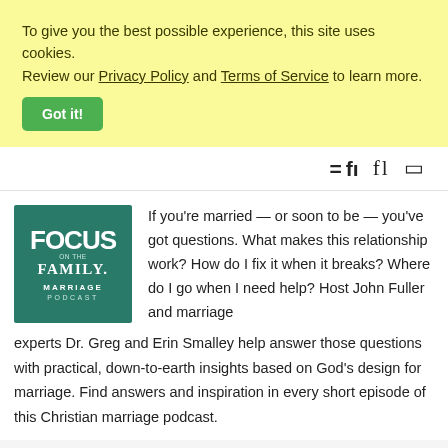To give you the best possible experience, this site uses cookies. Review our Privacy Policy and Terms of Service to learn more.
Got it!
[Figure (logo): Focus on the Family Marriage Podcast logo — teal/green square with white text]
If you're married — or soon to be — you've got questions. What makes this relationship work? How do I fix it when it breaks? Where do I go when I need help? Host John Fuller and marriage experts Dr. Greg and Erin Smalley help answer those questions with practical, down-to-earth insights based on God's design for marriage. Find answers and inspiration in every short episode of this Christian marriage podcast.